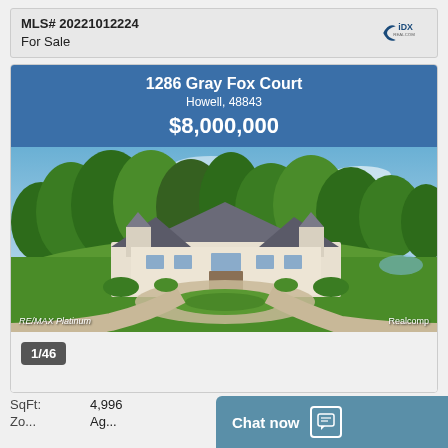MLS# 20221012224
For Sale
[Figure (logo): Realcom IDX logo]
1286 Gray Fox Court
Howell, 48843
$8,000,000
[Figure (photo): Aerial photo of large luxury home with circular driveway, lush green lawn, and wooded background. RE/MAX Platinum watermark bottom left, Realcomp watermark bottom right.]
1/46
SqFt:	4,996
Chat now